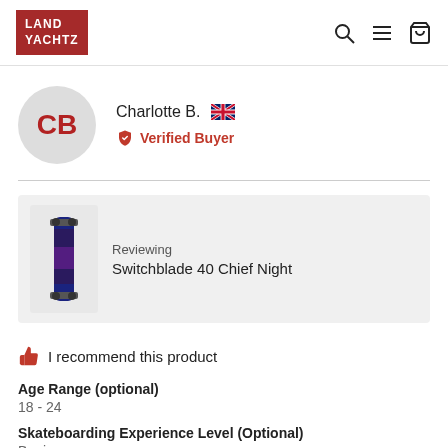LAND YACHTZ
Charlotte B. — Verified Buyer (UK)
Reviewing
Switchblade 40 Chief Night
I recommend this product
Age Range (optional)
18 - 24
Skateboarding Experience Level (Optional)
Beginner